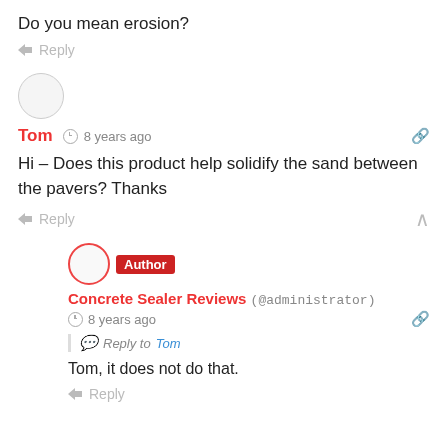Do you mean erosion?
Reply
Tom  8 years ago
Hi – Does this product help solidify the sand between the pavers? Thanks
Reply
Concrete Sealer Reviews (@administrator)  8 years ago
Reply to Tom
Tom, it does not do that.
Reply